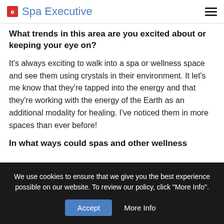Spa Executive
What trends in this area are you excited about or keeping your eye on?
It's always exciting to walk into a spa or wellness space and see them using crystals in their environment. It let's me know that they're tapped into the energy and that they're working with the energy of the Earth as an additional modality for healing. I've noticed them in more spaces than ever before!
In what ways could spas and other wellness
We use cookies to ensure that we give you the best experience possible on our website. To review our policy, click "More Info".